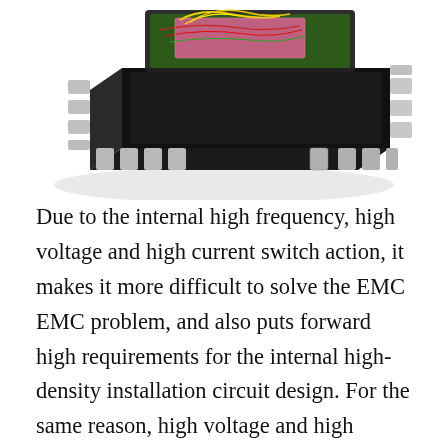[Figure (photo): Close-up photograph of a black integrated circuit (IC) chip package with silver metallic leads/pins, shown in 3D perspective view. The top of the chip shows colorful internal wire bonds (red, green, yellow wires) visible through an open or transparent lid.]
Due to the internal high frequency, high voltage and high current switch action, it makes it more difficult to solve the EMC EMC problem, and also puts forward high requirements for the internal high-density installation circuit design. For the same reason, high voltage and high current switch makes the power supply work loss increase, limiting the AC/DC converter modular process. Therefore, the optimal design method of power supply system must be adopted to make its work efficiency reach a certain